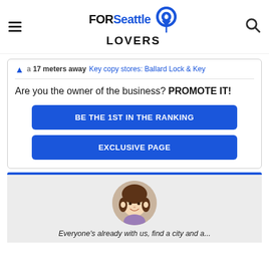FORSeattle LOVERS
a 17 meters away Key copy stores: Ballard Lock & Key
Are you the owner of the business? PROMOTE IT!
BE THE 1ST IN THE RANKING
EXCLUSIVE PAGE
[Figure (illustration): Cartoon avatar of a girl with brown hair and purple shirt in a circular frame]
Everyone's already with us, find a city and a...